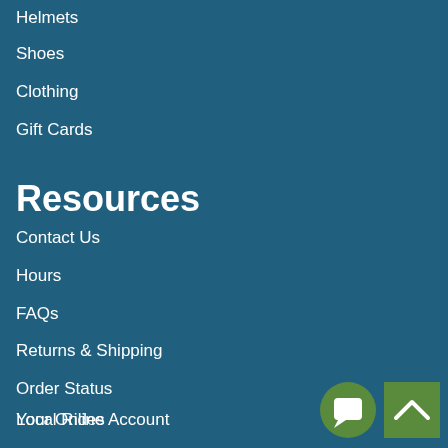Helmets
Shoes
Clothing
Gift Cards
Resources
Contact Us
Hours
FAQs
Returns & Shipping
Order Status
Your Online Account
Local Rides
[Figure (illustration): Green circular chat button with speech bubble icon and green square back-to-top button with caret/arrow icon]